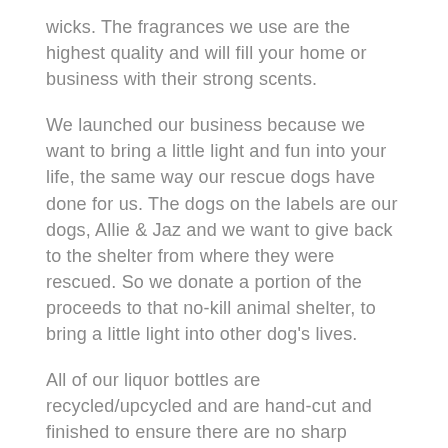wicks. The fragrances we use are the highest quality and will fill your home or business with their strong scents.
We launched our business because we want to bring a little light and fun into your life, the same way our rescue dogs have done for us. The dogs on the labels are our dogs, Allie & Jaz and we want to give back to the shelter from where they were rescued. So we donate a portion of the proceeds to that no-kill animal shelter, to bring a little light into other dog's lives.
All of our liquor bottles are recycled/upcycled and are hand-cut and finished to ensure there are no sharp edges. Bottle in the image is the bottle you will receive and while we make every attempt to only select bottles with high-quality labels, these are recycled bottles so there may be very small signs of wear or very minor stains on the label